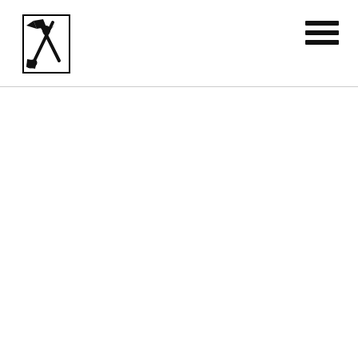[Figure (logo): A logo showing crossed shovel and pickaxe tools inside a rectangular border, rendered in black on white background]
[Figure (other): Hamburger menu icon — three horizontal black bars stacked vertically]